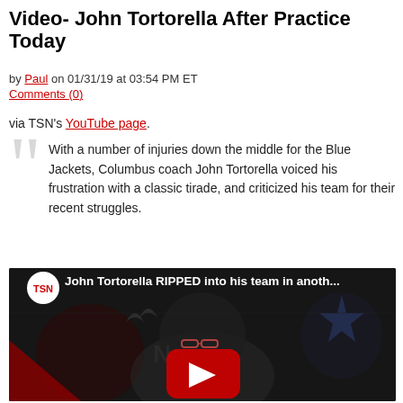Video- John Tortorella After Practice Today
by Paul on 01/31/19 at 03:54 PM ET
Comments (0)
via TSN's YouTube page.
With a number of injuries down the middle for the Blue Jackets, Columbus coach John Tortorella voiced his frustration with a classic tirade, and criticized his team for their recent struggles.
[Figure (screenshot): YouTube video thumbnail showing John Tortorella with TSN logo and title: John Tortorella RIPPED into his team in anoth...]